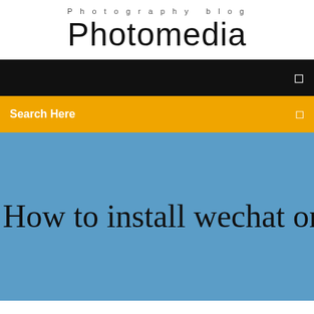Photography blog
Photomedia
☰
Search Here
☰
How to install wechat on my pc